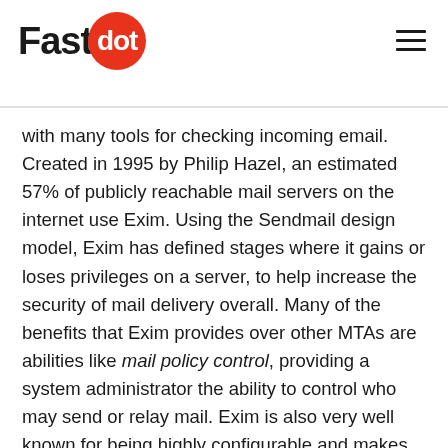Fastdot
with many tools for checking incoming email. Created in 1995 by Philip Hazel, an estimated 57% of publicly reachable mail servers on the internet use Exim. Using the Sendmail design model, Exim has defined stages where it gains or loses privileges on a server, to help increase the security of mail delivery overall. Many of the benefits that Exim provides over other MTAs are abilities like mail policy control, providing a system administrator the ability to control who may send or relay mail. Exim is also very well known for being highly configurable and makes extensive use of Access Control Lists (much like cPanel & WHM do!) and allows for easier integration of antivirus and anti-spam programs.